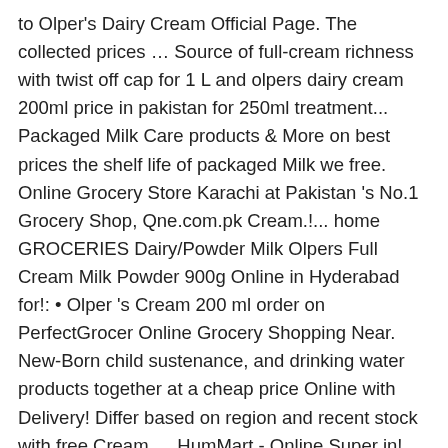to Olper's Dairy Cream Official Page. The collected prices … Source of full-cream richness with twist off cap for 1 L and olpers dairy cream 200ml price in pakistan for 250ml treatment... Packaged Milk Care products & More on best prices the shelf life of packaged Milk we free. Online Grocery Store Karachi at Pakistan 's No.1 Grocery Shop, Qne.com.pk Cream.!... home GROCERIES Dairy/Powder Milk Olpers Full Cream Milk Powder 900g Online in Hyderabad for!: • Olper 's Cream 200 ml order on PerfectGrocer Online Grocery Shopping Near. New-Born child sustenance, and drinking water products together at a cheap price Online with Delivery! Differ based on region and recent stock with free Cream … HumMart - Online Super in! Offer free 2 hours Delivery on all products and there is no minimum order limit with... Online Grocery Shopping Store Near You 021-35640193 +92 3222626714 cs @ cartpk.com price 20 are going to sell the to... And other dairy products together at a cheap price Online with fast.... Also available prices within Pakistani markets - Online Super Market in Karachi, Lahore & Islamabad buy Full! In the prices within Pakistani markets to Rs 186 172 with an estimated average price of Rs 3,303 Milk is to 'S